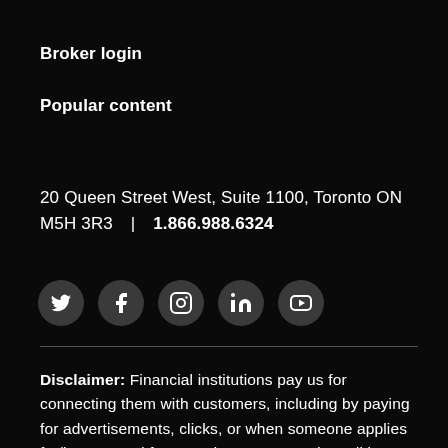Broker login
Popular content
20 Queen Street West, Suite 1100, Toronto ON M5H 3R3  |  1.866.988.6324
[Figure (other): Row of five social media icon circles: Twitter (bird), Facebook (f), Instagram (camera), LinkedIn (in), YouTube (play button). Each icon is white on a dark grey circular background.]
Disclaimer: Financial institutions pay us for connecting them with customers, including by paying for advertisements, clicks, or when someone applies for/is approved for a product. Terms and conditions apply between you and the provider of the product - please be